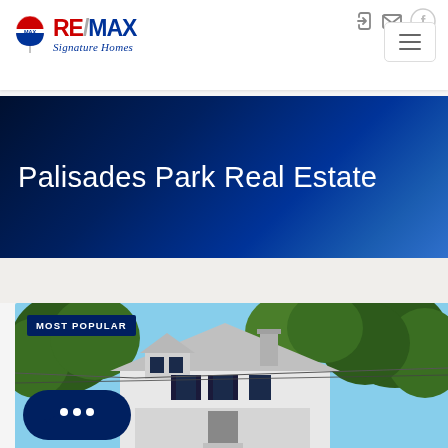RE/MAX Signature Homes - navigation bar with icons and hamburger menu
Palisades Park Real Estate
[Figure (photo): Exterior photo of a white multi-story residential house with dark shutters, surrounded by trees, with a 'MOST POPULAR' badge overlay in the top-left corner and a chat button in the bottom-left corner]